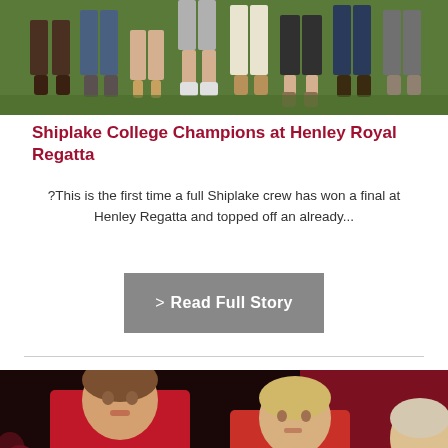[Figure (photo): Bottom halves of people standing on grass, showing legs and feet, outdoors at an event]
Shiplake College Champions at Henley Royal Regatta
?This is the first time a full Shiplake crew has won a final at Henley Regatta and topped off an already...
> Read Full Story
[Figure (photo): Two young boys in red choir robes singing, with a third boy partially visible, in front of a dark red curtain]